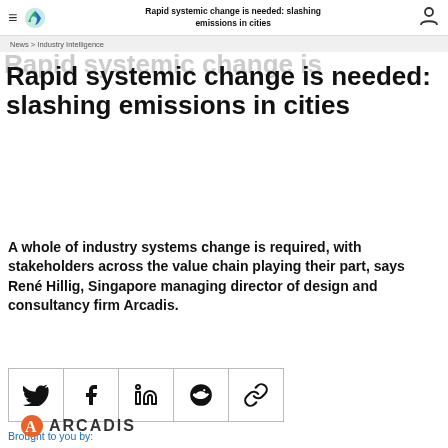Rapid systemic change is needed: slashing emissions in cities
Rapid systemic change is needed: slashing emissions in cities
A whole of industry systems change is required, with stakeholders across the value chain playing their part, says René Hillig, Singapore managing director of design and consultancy firm Arcadis.
[Figure (infographic): Social share icons row: Twitter, Facebook, LinkedIn, Reddit, Copy link]
Brought to you by:
[Figure (logo): Arcadis logo - orange A icon with ARCADIS text]